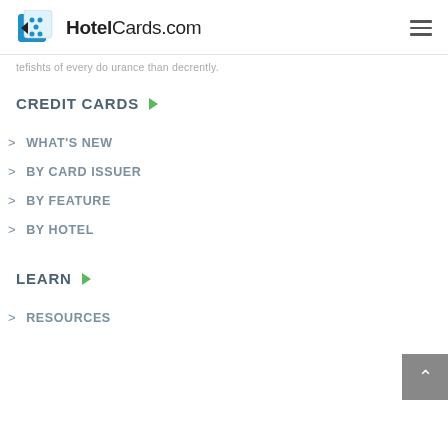HotelCards.com
tefishts of every do urance than decently.
CREDIT CARDS
WHAT'S NEW
BY CARD ISSUER
BY FEATURE
BY HOTEL
LEARN
RESOURCES